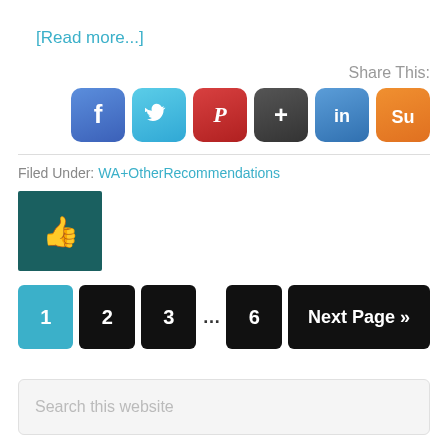[Read more...]
Share This:
[Figure (infographic): Social sharing icon buttons: Facebook, Twitter, Pinterest, Google+, LinkedIn, StumbleUpon]
Filed Under: WA+OtherRecommendations
[Figure (infographic): Thumbs up icon in dark teal square]
[Figure (infographic): Pagination buttons: 1 (active, blue), 2, 3, ..., 6, Next Page »]
Search this website